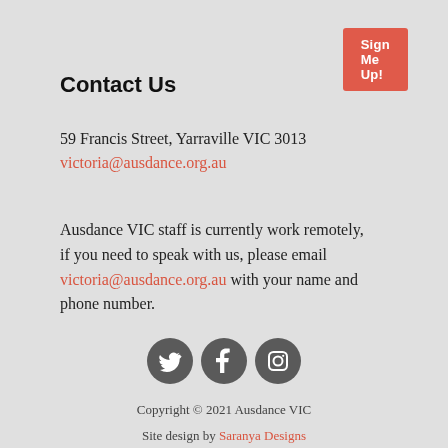[Figure (other): Red 'Sign Me Up!' button in top right corner]
Contact Us
59 Francis Street, Yarraville VIC 3013
victoria@ausdance.org.au
Ausdance VIC staff is currently work remotely, if you need to speak with us, please email victoria@ausdance.org.au with your name and phone number.
[Figure (other): Three social media icons: Twitter, Facebook, Instagram — dark grey circles with white icons]
Copyright © 2021 Ausdance VIC
Site design by Saranya Designs